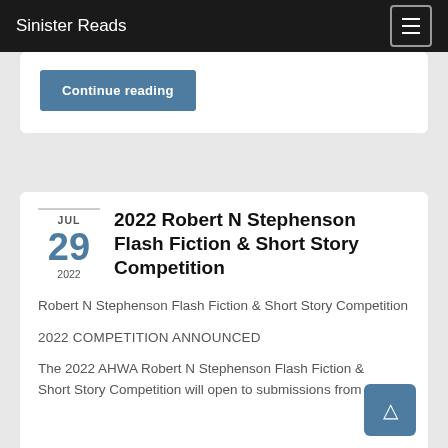Sinister Reads
Continue reading
2022 Robert N Stephenson Flash Fiction & Short Story Competition
Robert N Stephenson Flash Fiction & Short Story Competition
2022 COMPETITION ANNOUNCED
The 2022 AHWA Robert N Stephenson Flash Fiction & Short Story Competition will open to submissions from